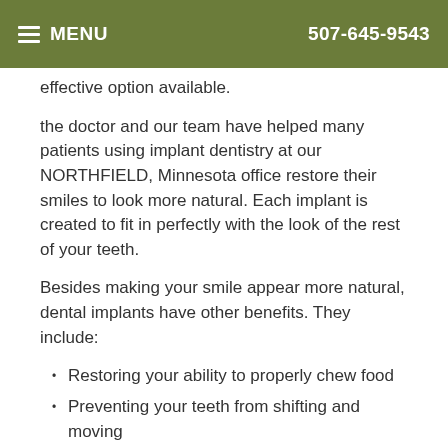MENU  507-645-9543
effective option available.
the doctor and our team have helped many patients using implant dentistry at our NORTHFIELD, Minnesota office restore their smiles to look more natural. Each implant is created to fit in perfectly with the look of the rest of your teeth.
Besides making your smile appear more natural, dental implants have other benefits. They include:
Restoring your ability to properly chew food
Preventing your teeth from shifting and moving
Stabilizing your bite, helping you avoid pain or discomfort